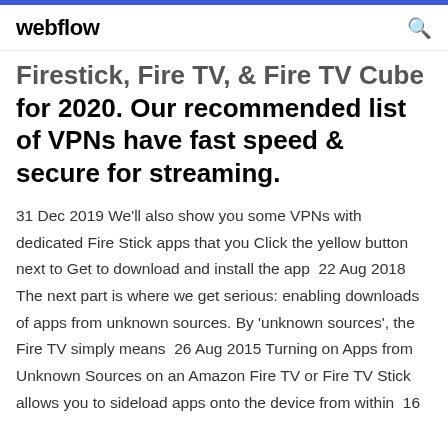webflow
Firestick, Fire TV, & Fire TV Cube for 2020. Our recommended list of VPNs have fast speed & secure for streaming.
31 Dec 2019 We'll also show you some VPNs with dedicated Fire Stick apps that you Click the yellow button next to Get to download and install the app  22 Aug 2018 The next part is where we get serious: enabling downloads of apps from unknown sources. By 'unknown sources', the Fire TV simply means  26 Aug 2015 Turning on Apps from Unknown Sources on an Amazon Fire TV or Fire TV Stick allows you to sideload apps onto the device from within  16